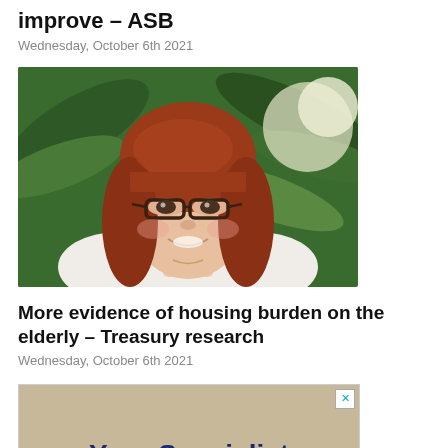improve – ASB
Wednesday, October 6th 2021
[Figure (photo): Portrait photo of a woman with red hair and glasses, wearing a white top, with green palm leaves in the background]
More evidence of housing burden on the elderly – Treasury research
Wednesday, October 6th 2021
[Figure (other): Advertisement banner with tan/khaki background showing text 'Your Specialist' in dark blue bold font, with a close button in the top right corner]